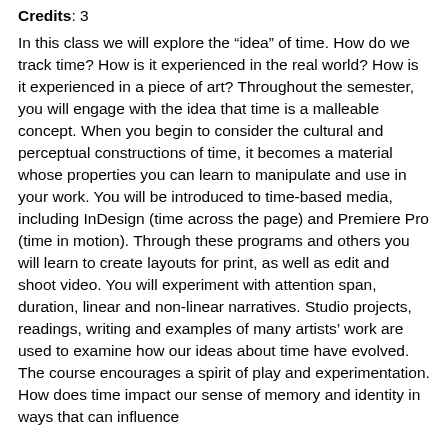Credits: 3
In this class we will explore the “idea” of time. How do we track time? How is it experienced in the real world? How is it experienced in a piece of art? Throughout the semester, you will engage with the idea that time is a malleable concept. When you begin to consider the cultural and perceptual constructions of time, it becomes a material whose properties you can learn to manipulate and use in your work. You will be introduced to time-based media, including InDesign (time across the page) and Premiere Pro (time in motion). Through these programs and others you will learn to create layouts for print, as well as edit and shoot video. You will experiment with attention span, duration, linear and non-linear narratives. Studio projects, readings, writing and examples of many artists’ work are used to examine how our ideas about time have evolved. The course encourages a spirit of play and experimentation. How does time impact our sense of memory and identity in ways that can influence